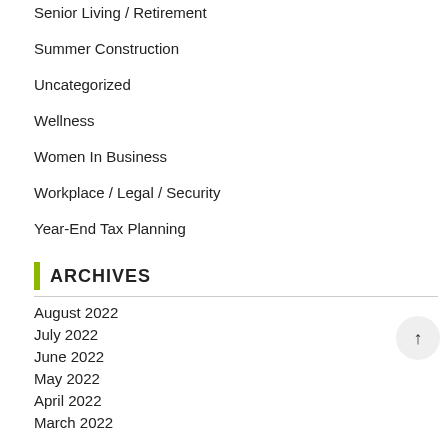Senior Living / Retirement
Summer Construction
Uncategorized
Wellness
Women In Business
Workplace / Legal / Security
Year-End Tax Planning
ARCHIVES
August 2022
July 2022
June 2022
May 2022
April 2022
March 2022